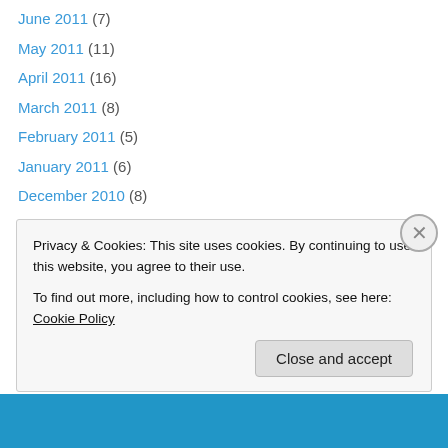June 2011 (7)
May 2011 (11)
April 2011 (16)
March 2011 (8)
February 2011 (5)
January 2011 (6)
December 2010 (8)
November 2010 (11)
October 2010 (6)
September 2010 (8)
August 2010 (5)
July 2010 (15)
June 2010 (11)
Privacy & Cookies: This site uses cookies. By continuing to use this website, you agree to their use.
To find out more, including how to control cookies, see here: Cookie Policy